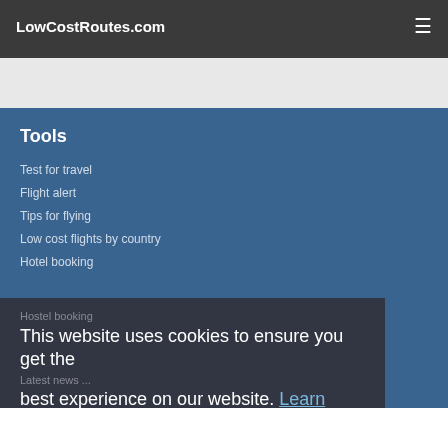LowCostRoutes.com
Tools
Test for travel
Flight alert
Tips for flying
Low cost flights by country
Hotel booking
Hostel booking
This website uses cookies to ensure you get the best experience on our website. Learn more
Latest news ...